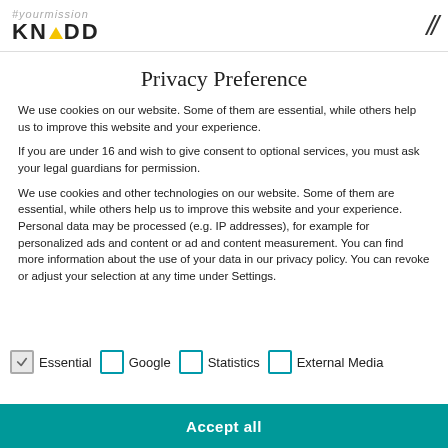#yourmission KNADD
Privacy Preference
We use cookies on our website. Some of them are essential, while others help us to improve this website and your experience.
If you are under 16 and wish to give consent to optional services, you must ask your legal guardians for permission.
We use cookies and other technologies on our website. Some of them are essential, while others help us to improve this website and your experience. Personal data may be processed (e.g. IP addresses), for example for personalized ads and content or ad and content measurement. You can find more information about the use of your data in our privacy policy. You can revoke or adjust your selection at any time under Settings.
Essential
Google
Statistics
External Media
#youareknapp  Accept all